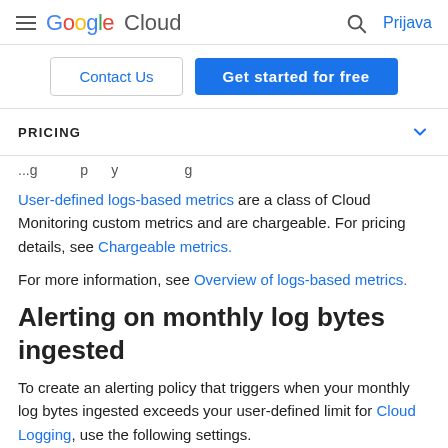Google Cloud — Prijava
Contact Us | Get started for free
PRICING
[truncated text line]
User-defined logs-based metrics are a class of Cloud Monitoring custom metrics and are chargeable. For pricing details, see Chargeable metrics.
For more information, see Overview of logs-based metrics.
Alerting on monthly log bytes ingested
To create an alerting policy that triggers when your monthly log bytes ingested exceeds your user-defined limit for Cloud Logging, use the following settings.